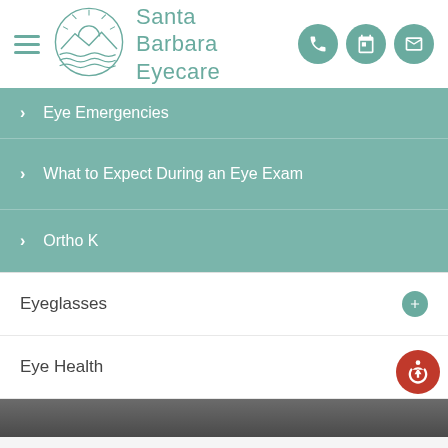[Figure (logo): Santa Barbara Eyecare logo with circular ocean/mountain scene in teal]
Santa Barbara Eyecare
Eye Emergencies
What to Expect During an Eye Exam
Ortho K
Eyeglasses
Eye Health
[Figure (photo): Photo strip at the bottom of the page, partially visible]